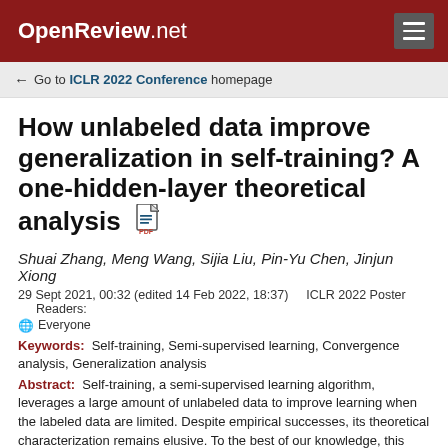OpenReview.net
← Go to ICLR 2022 Conference homepage
How unlabeled data improve generalization in self-training? A one-hidden-layer theoretical analysis
Shuai Zhang, Meng Wang, Sijia Liu, Pin-Yu Chen, Jinjun Xiong
29 Sept 2021, 00:32 (edited 14 Feb 2022, 18:37)   ICLR 2022 Poster   Readers: Everyone
Keywords: Self-training, Semi-supervised learning, Convergence analysis, Generalization analysis
Abstract: Self-training, a semi-supervised learning algorithm, leverages a large amount of unlabeled data to improve learning when the labeled data are limited. Despite empirical successes, its theoretical characterization remains elusive. To the best of our knowledge, this work establishes the first theoretical analysis for the known iterative self-training paradigm and formally proves the benefits of unlabeled data in both training convergence and generalization ability. To make our theoretical analysis feasible, we focus on